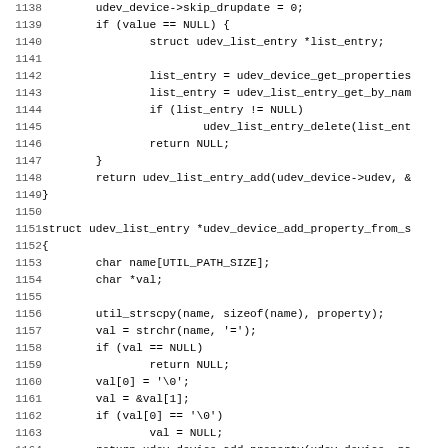[Figure (screenshot): Source code listing in C, lines 1138-1170, showing udev device property functions including udev_device_add_property and udev_device_add_property_from_s, with monospace font on white background]